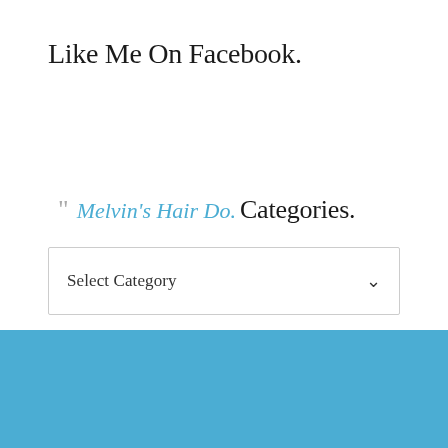Like Me On Facebook.
" Melvin's Hair Do.
Categories.
Select Category